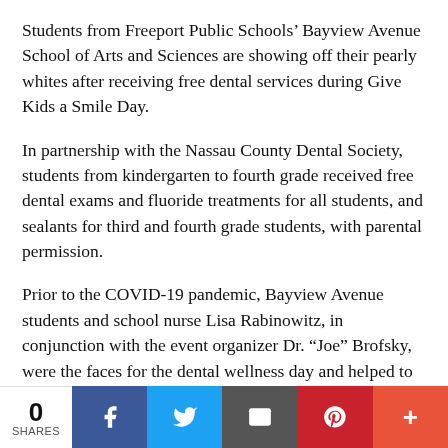Students from Freeport Public Schools' Bayview Avenue School of Arts and Sciences are showing off their pearly whites after receiving free dental services during Give Kids a Smile Day.
In partnership with the Nassau County Dental Society, students from kindergarten to fourth grade received free dental exams and fluoride treatments for all students, and sealants for third and fourth grade students, with parental permission.
Prior to the COVID-19 pandemic, Bayview Avenue students and school nurse Lisa Rabinowitz, in conjunction with the event organizer Dr. “Joe” Brofsky, were the faces for the dental wellness day and helped to create the dental video shown during past events, which were held at the Cradle of
0 SHARES